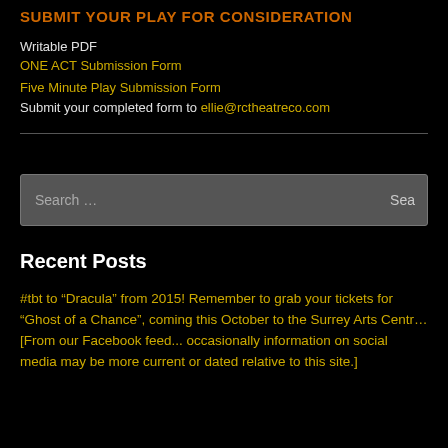SUBMIT YOUR PLAY FOR CONSIDERATION
Writable PDF
ONE ACT Submission Form
Five Minute Play Submission Form
Submit your completed form to ellie@rctheatreco.com
[Figure (other): Search box with placeholder text 'Search ...' and a 'Sea' (Search) button]
Recent Posts
#tbt to “Dracula” from 2015! Remember to grab your tickets for “Ghost of a Chance”, coming this October to the Surrey Arts Centr… [From our Facebook feed... occasionally information on social media may be more current or dated relative to this site.]